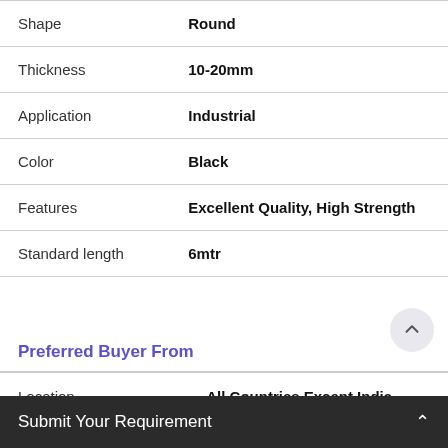| Property | Value |
| --- | --- |
| Shape | Round |
| Thickness | 10-20mm |
| Application | Industrial |
| Color | Black |
| Features | Excellent Quality, High Strength |
| Standard length | 6mtr |
Preferred Buyer From
| Property | Value |
| --- | --- |
| Location | All Countries Except India |
Submit Your Requirement